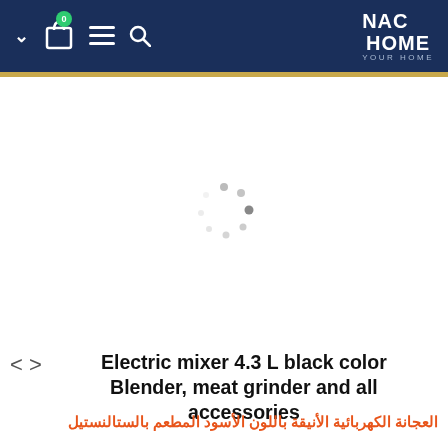NAC HOME YOUR HOME
[Figure (other): Loading spinner (circular dotted spinner animation placeholder) indicating product image is loading]
Electric mixer 4.3 L black color Blender, meat grinder and all accessories
العجانة الكهربائية الأنيقة باللون الأسود المطعم بالستالنستيل